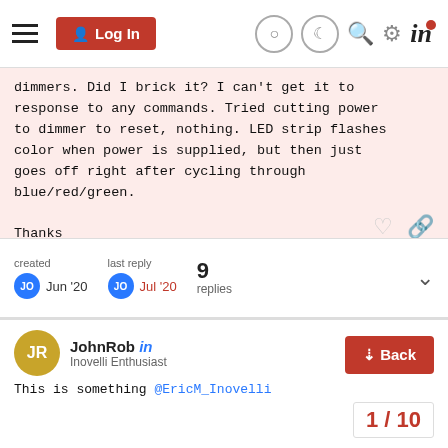Log In
dimmers. Did I brick it? I can't get it to response to any commands. Tried cutting power to dimmer to reset, nothing. LED strip flashes color when power is supplied, but then just goes off right after cycling through blue/red/green.

Thanks
Joe
created Jun '20   last reply Jul '20   9 replies
JohnRob  in
Inovelli Enthusiast
This is something @EricM_Inovelli